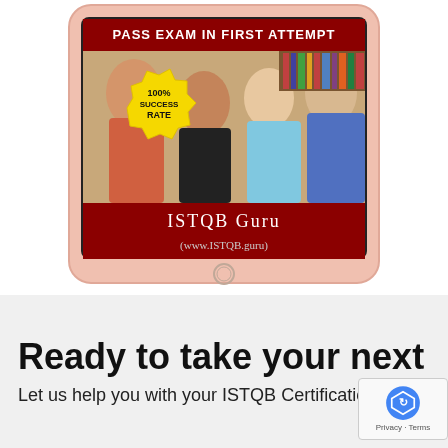[Figure (illustration): Tablet device showing ISTQB Guru promotional image with students smiling, a yellow starburst badge saying '100% SUCCESS RATE', a dark red banner reading 'ISTQB Guru (www.ISTQB.guru)', and a top banner partially reading 'PASS EXAM IN FIRST ATTEMPT']
Ready to take your next st
Let us help you with your ISTQB Certification